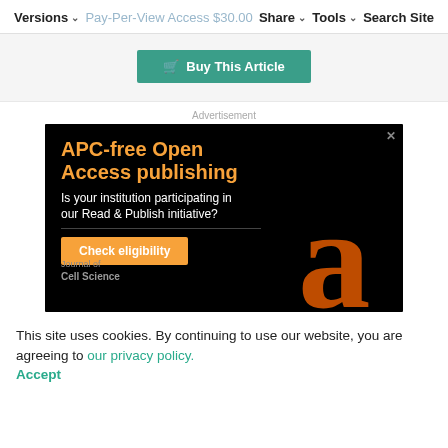Versions ▾   Pay-Per-View Access $30.00   Share ▾   Tools ▾   Search Site
🛒 Buy This Article
Advertisement
[Figure (infographic): APC-free Open Access publishing advertisement. Black background with orange heading text reading 'APC-free Open Access publishing', white subtext 'Is your institution participating in our Read & Publish initiative?', orange 'Check eligibility' button, and a large Open Access lock logo on the right. Journal of Cell Science branding at bottom.]
This site uses cookies. By continuing to use our website, you are agreeing to our privacy policy. Accept